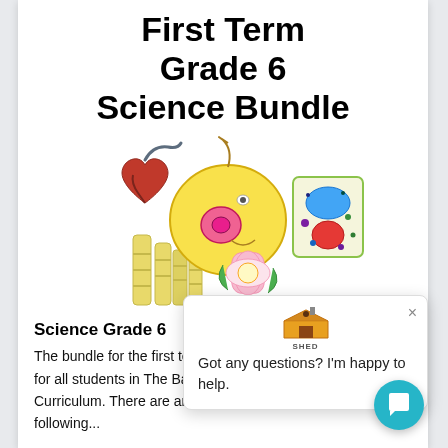First Term Grade 6 Science Bundle
[Figure (illustration): Illustration of science-related items: a human heart, a yellow cell (animal cell), a plant cell diagram, bamboo stalks, and a pink flower with green leaves]
Science Grade 6
The bundle for the first term for grade 6 contains worksheets for all students in The Bahamas Ministry Education Curriculum. There are answer keys for all worksheets.  The following...
[Figure (screenshot): Chat popup overlay with 'THE TEACHER SHED' logo, a close button (×), and message 'Got any questions? I'm happy to help.']
[Figure (other): Teal circular chat button icon in bottom right corner]